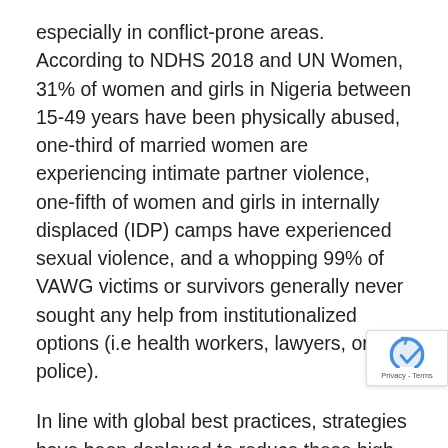especially in conflict-prone areas. According to NDHS 2018 and UN Women, 31% of women and girls in Nigeria between 15-49 years have been physically abused, one-third of married women are experiencing intimate partner violence, one-fifth of women and girls in internally displaced (IDP) camps have experienced sexual violence, and a whopping 99% of VAWG victims or survivors generally never sought any help from institutionalized options (i.e health workers, lawyers, or police).
In line with global best practices, strategies have been deployed to reduce these high rates of GBV in Nigeria. These strategies include widespread community sensitization programs and awareness campaigns on VAWG matters as well as and service delivery access pathways. Other strategies include availability of GBV referral and crisis centers and safe homes where medical and psychosocial is delivered in collaboration with local and international